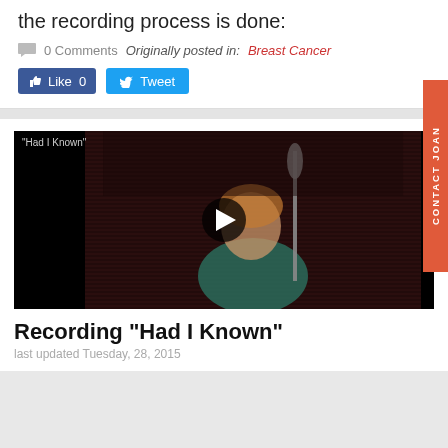the recording process is done:
0 Comments   Originally posted in: Breast Cancer
[Figure (screenshot): Facebook Like button showing 0 likes and a Twitter Tweet button]
[Figure (screenshot): Video player showing a person singing at a microphone in a recording studio with a play button overlay. Label reads 'Had I Known']
Recording "Had I Known"
last updated Tuesday, 28, 2015